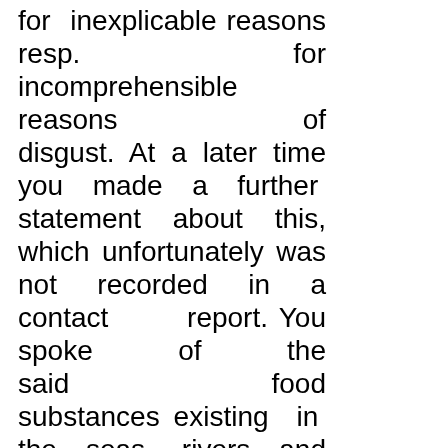for inexplicable reasons resp. for incomprehensible reasons of disgust. At a later time you made a further statement about this, which unfortunately was not recorded in a contact report. You spoke of the said food substances existing in the seas, rivers and lakes. Are they small and micro life-forms?